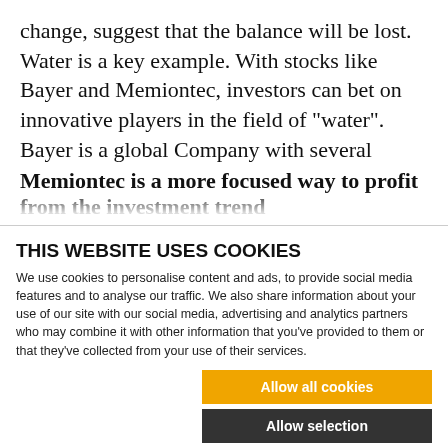change, suggest that the balance will be lost. Water is a key example. With stocks like Bayer and Memiontec, investors can bet on innovative players in the field of "water". Bayer is a global Company with several business units.
Memiontec is a more focused way to profit from the investment trend
THIS WEBSITE USES COOKIES
We use cookies to personalise content and ads, to provide social media features and to analyse our traffic. We also share information about your use of our site with our social media, advertising and analytics partners who may combine it with other information that you've provided to them or that they've collected from your use of their services.
[Figure (infographic): Cookie consent dialog with three buttons: 'Allow all cookies' (orange), 'Allow selection' (dark/black), 'Use necessary cookies only' (outlined). Below are checkbox options: Necessary (checked), Marketing, Preferences, Statistics, and a Show details dropdown.]